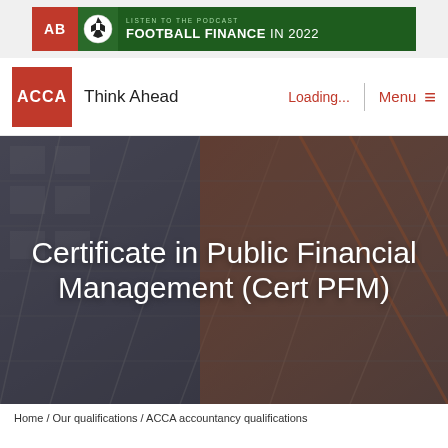[Figure (screenshot): AB magazine advertisement banner for Football Finance in 2022 podcast, dark green background with soccer ball, AB logo in red]
[Figure (logo): ACCA Think Ahead logo with red square, white ACCA text, and black Think Ahead text next to it. Navigation bar with Loading... and Menu options in red.]
Certificate in Public Financial Management (Cert PFM)
Home / Our qualifications / ACCA accountancy qualifications